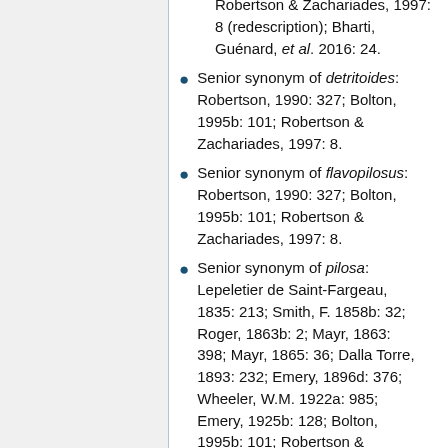Robertson & Zachariades, 1997: 8 (redescription); Bharti, Guénard, et al. 2016: 24.
Senior synonym of detritoides: Robertson, 1990: 327; Bolton, 1995b: 101; Robertson & Zachariades, 1997: 8.
Senior synonym of flavopilosus: Robertson, 1990: 327; Bolton, 1995b: 101; Robertson & Zachariades, 1997: 8.
Senior synonym of pilosa: Lepeletier de Saint-Fargeau, 1835: 213; Smith, F. 1858b: 32; Roger, 1863b: 2; Mayr, 1863: 398; Mayr, 1865: 36; Dalla Torre, 1893: 232; Emery, 1896d: 376; Wheeler, W.M. 1922a: 985; Emery, 1925b: 128; Bolton, 1995b: 101; Robertson & Zachariades, 1997: 8.